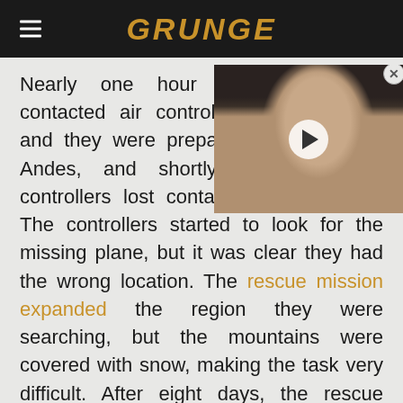GRUNGE
[Figure (photo): Video thumbnail of a woman with short dark hair, with a play button overlay and close button.]
Nearly one hour after the plane contacted air controllers saying Chile, and they were preparing still in the Andes, and shortly after that, air controllers lost contact with the plane. The controllers started to look for the missing plane, but it was clear they had the wrong location. The rescue mission expanded the region they were searching, but the mountains were covered with snow, making the task very difficult. After eight days, the rescue mission came to an end after the team determined that no survivors could possibly have